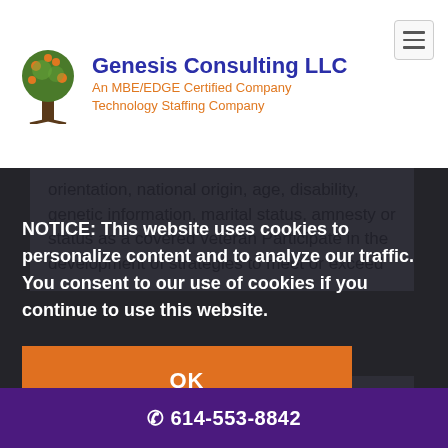[Figure (logo): Genesis Consulting LLC logo with tree icon]
Genesis Consulting LLC
An MBE/EDGE Certified Company
Technology Staffing Company
orientation, national origin, age, disability, genetic information, marital status, amnesty or status as a covered veteran Participate in the development of strategies to meet or exceed
NOTICE: This website uses cookies to personalize content and to analyze our traffic. You consent to our use of cookies if you continue to use this website.
OK
preferred Experience with regulatory requirements related to HIPAA, PCi
614-553-8842